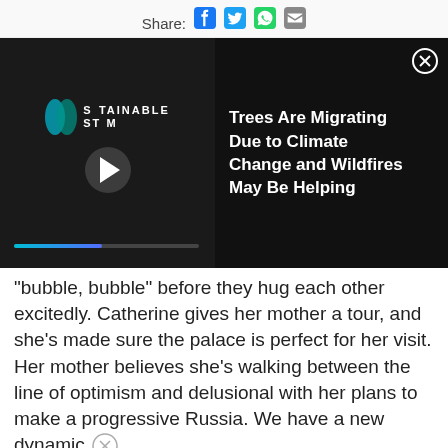Share: [social icons]
[Figure (screenshot): Video player showing 'Sustainable Storm' logo with play button and progress bar on left; article recommendation 'Trees Are Migrating Due to Climate Change and Wildfires May Be Helping' on right with close button]
“bubble, bubble” before they hug each other excitedly. Catherine gives her mother a tour, and she’s made sure the palace is perfect for her visit. Her mother believes she’s walking between the line of optimism and delusional with her plans to make a progressive Russia. We have a new dynamic
in the story that may be troubling — the moti
[Figure (screenshot): Victoria's Secret advertisement banner with model, VS logo, 'SHOP THE COLLECTION' text, and 'SHOP NOW' button]
The mother gives Catherine updates on her